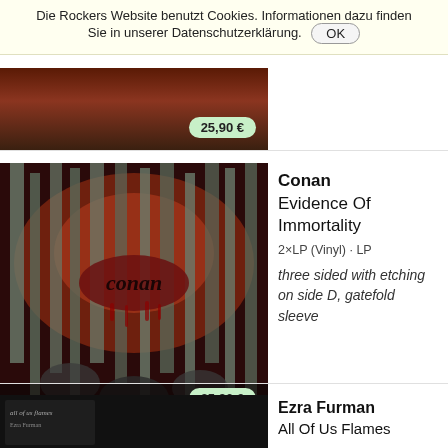Die Rockers Website benutzt Cookies. Informationen dazu finden Sie in unserer Datenschutzerklärung. OK
[Figure (photo): Partially visible album cover at top of page, price badge showing 25,90 €]
[Figure (photo): Conan - Evidence Of Immortality album cover: dark illustrated artwork with skeletal figures and stylized band logo in red and grey tones]
Conan
Evidence Of Immortality
2×LP (Vinyl) · LP
three sided with etching on side D, gatefold sleeve
35,90 €
[Figure (photo): Ezra Furman album cover partially visible, dark background with small italic text label]
Ezra Furman
All Of Us Flames